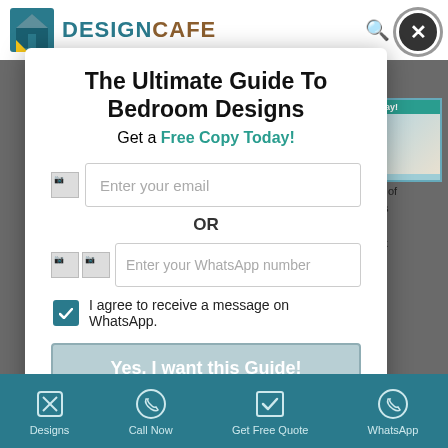[Figure (screenshot): DesignCafe website header with logo, search icon, and close button]
The Ultimate Guide To Bedroom Designs
Get a Free Copy Today!
Enter your email
OR
Enter your WhatsApp number
I agree to receive a message on WhatsApp.
Yes, I want this Guide!
Designs | Call Now | Get Free Quote | WhatsApp